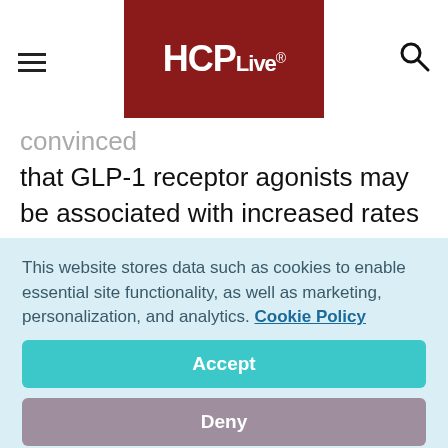HCPLive®
convinced... theory, that GLP-1 receptor agonists may be associated with increased rates of carcinoma and pancreatic disease.
The study was part of a series called the AWARD-5 trial, which tested dulaglutide in ...
This website stores data such as cookies to enable essential site functionality, as well as marketing, personalization, and analytics. Cookie Policy
Accept
Deny